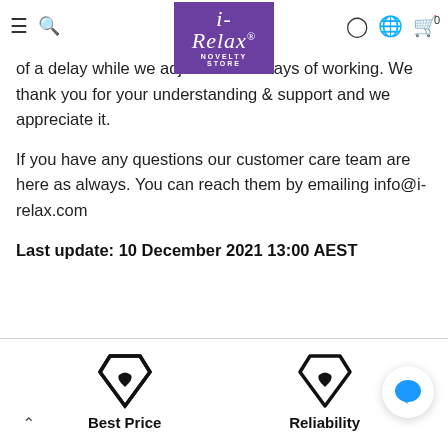iRelax Novelty Store header with navigation icons and logo
of a delay while we adjust to new ways of working. We thank you for your understanding & support and we appreciate it.
If you have any questions our customer care team are here as always. You can reach them by emailing info@i-relax.com
Last update: 10 December 2021 13:00 AEST
[Figure (illustration): Price tag icon with heart]
Best Price
[Figure (illustration): Price tag icon with heart]
Reliability